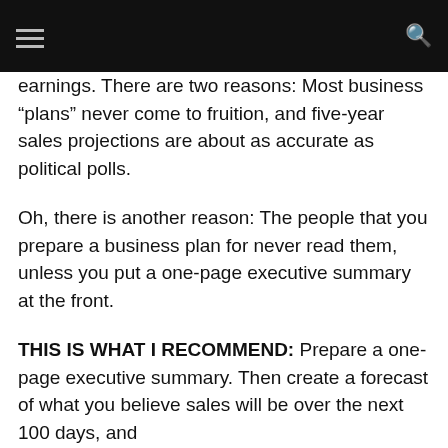[navigation header with hamburger menu and search icon]
earnings. There are two reasons: Most business “plans” never come to fruition, and five-year sales projections are about as accurate as political polls.
Oh, there is another reason: The people that you prepare a business plan for never read them, unless you put a one-page executive summary at the front.
THIS IS WHAT I RECOMMEND: Prepare a one-page executive summary. Then create a forecast of what you believe sales will be over the next 100 days, and